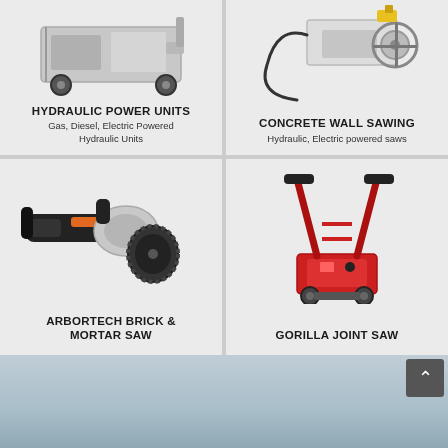[Figure (photo): Hydraulic power unit machine on wheels, grey/silver]
HYDRAULIC POWER UNITS
Gas, Diesel, Electric Powered Hydraulic Units
[Figure (photo): Concrete wall saw, hydraulic electric powered]
CONCRETE WALL SAWING
Hydraulic, Electric powered saws
[Figure (photo): Arbortech brick and mortar saw, black handheld grinder tool]
ARBORTECH BRICK & MORTAR SAW
[Figure (photo): Gorilla Joint Saw, red upright walk-behind floor saw machine]
GORILLA JOINT SAW